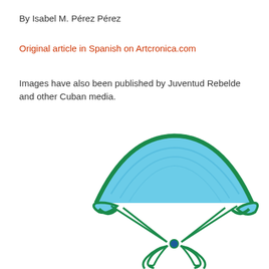By Isabel M. Pérez Pérez
Original article in Spanish on Artcronica.com
Images have also been published by Juventud Rebelde and other Cuban media.
[Figure (illustration): Illustration of a parachute with a blue canopy and green frame/rigging lines, with a figure hanging below]